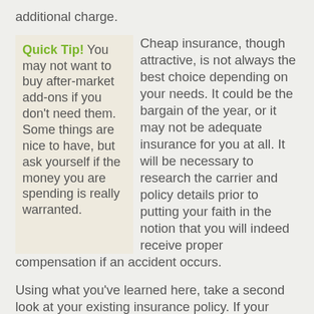additional charge.
Quick Tip! You may not want to buy after-market add-ons if you don't need them. Some things are nice to have, but ask yourself if the money you are spending is really warranted.
Cheap insurance, though attractive, is not always the best choice depending on your needs. It could be the bargain of the year, or it may not be adequate insurance for you at all. It will be necessary to research the carrier and policy details prior to putting your faith in the notion that you will indeed receive proper compensation if an accident occurs.
Using what you've learned here, take a second look at your existing insurance policy. If your circumstances have changed, then you are likely paying too much for insurance. Make sure you check out your policy to see what is there.